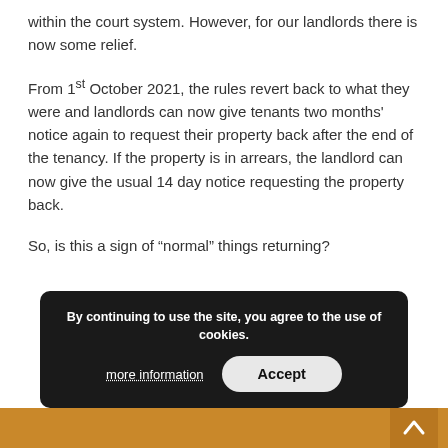within the court system. However, for our landlords there is now some relief.
From 1st October 2021, the rules revert back to what they were and landlords can now give tenants two months' notice again to request their property back after the end of the tenancy. If the property is in arrears, the landlord can now give the usual 14 day notice requesting the property back.
So, is this a sign of “normal” things returning?
By continuing to use the site, you agree to the use of cookies.
more information
Accept